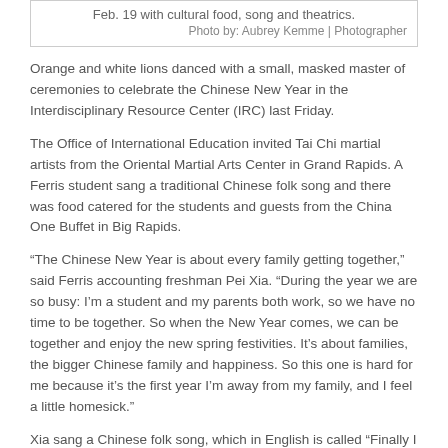Feb. 19 with cultural food, song and theatrics.
Photo by: Aubrey Kemme | Photographer
Orange and white lions danced with a small, masked master of ceremonies to celebrate the Chinese New Year in the Interdisciplinary Resource Center (IRC) last Friday.
The Office of International Education invited Tai Chi martial artists from the Oriental Martial Arts Center in Grand Rapids. A Ferris student sang a traditional Chinese folk song and there was food catered for the students and guests from the China One Buffet in Big Rapids.
“The Chinese New Year is about every family getting together,” said Ferris accounting freshman Pei Xia. “During the year we are so busy: I’m a student and my parents both work, so we have no time to be together. So when the New Year comes, we can be together and enjoy the new spring festivities. It’s about families, the bigger Chinese family and happiness. So this one is hard for me because it’s the first year I’m away from my family, and I feel a little homesick.”
Xia sang a Chinese folk song, which in English is called “Finally I Still Have You,” after dinner was served.